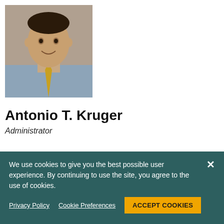[Figure (photo): Professional headshot of Antonio T. Kruger, a man wearing a light blue button-down shirt and gold/yellow tie, smiling, with a neutral background.]
Antonio T. Kruger
Administrator
Mr. Kruger is a Bay Area native and has been with PMHV since 2005. As Administrator, he handles administrative inquiries and requests. He is the
We use cookies to give you the best possible user experience. By continuing to use the site, you agree to the use of cookies.
Privacy Policy   Cookie Preferences   ACCEPT COOKIES